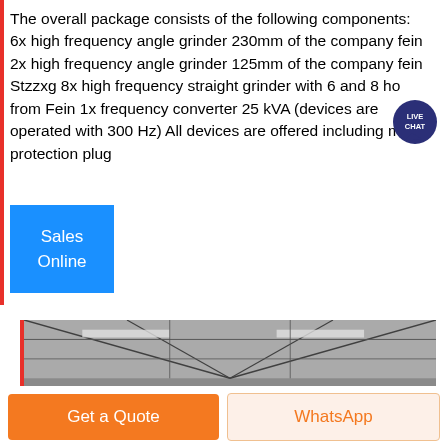The overall package consists of the following components: 6x high frequency angle grinder 230mm of the company fein 2x high frequency angle grinder 125mm of the company fein Stzzxg 8x high frequency straight grinder with 6 and 8 ho... from Fein 1x frequency converter 25 kVA (devices are operated with 300 Hz) All devices are offered including motor protection plug
[Figure (other): Blue 'Sales Online' button on the left side]
[Figure (photo): Black and white photo of industrial warehouse interior with ceiling structure and large cylindrical objects (coils or rolls) visible from above.]
[Figure (other): Bottom call-to-action bar with orange 'Get a Quote' button and beige/orange 'WhatsApp' button]